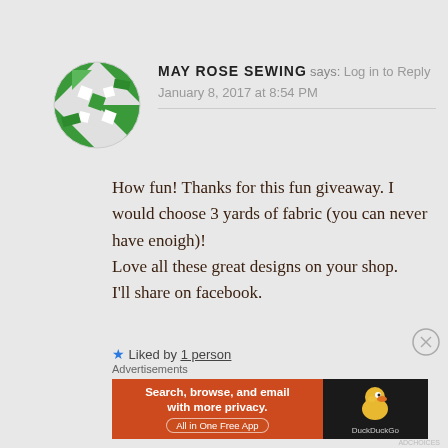[Figure (illustration): Green and white geometric quilt block avatar icon, circular shape with triangular and square patterns]
MAY ROSE SEWING says: Log in to Reply
January 8, 2017 at 8:54 PM
How fun! Thanks for this fun giveaway. I would choose 3 yards of fabric (you can never have enoigh)!
Love all these great designs on your shop.
I'll share on facebook.
★ Liked by 1 person
Advertisements
[Figure (screenshot): DuckDuckGo advertisement banner: orange left side with text 'Search, browse, and email with more privacy. All in One Free App', dark right side with DuckDuckGo duck logo]